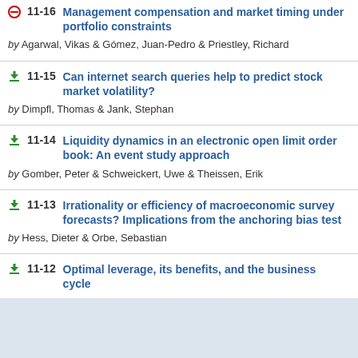11-16 Management compensation and market timing under portfolio constraints by Agarwal, Vikas & Gómez, Juan-Pedro & Priestley, Richard
11-15 Can internet search queries help to predict stock market volatility? by Dimpfl, Thomas & Jank, Stephan
11-14 Liquidity dynamics in an electronic open limit order book: An event study approach by Gomber, Peter & Schweickert, Uwe & Theissen, Erik
11-13 Irrationality or efficiency of macroeconomic survey forecasts? Implications from the anchoring bias test by Hess, Dieter & Orbe, Sebastian
11-12 Optimal leverage, its benefits, and the business cycle